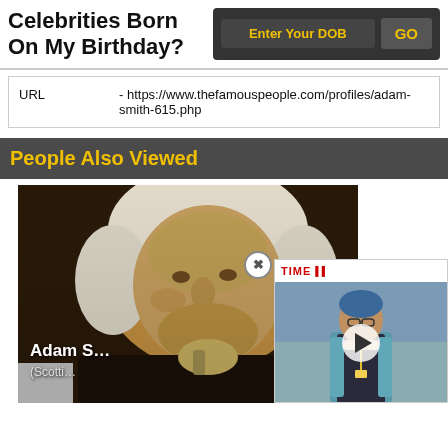Celebrities Born On My Birthday?
| URL |  |
| --- | --- |
| URL | - https://www.thefamouspeople.com/profiles/adam-smith-615.php |
People Also Viewed
[Figure (photo): Portrait painting of Adam Smith, Scottish economist, cropped close-up showing face and white powdered wig, with an overlaid video thumbnail from TIME showing a person in a teal cardigan with a play button overlay]
Adam S... (Scotti...